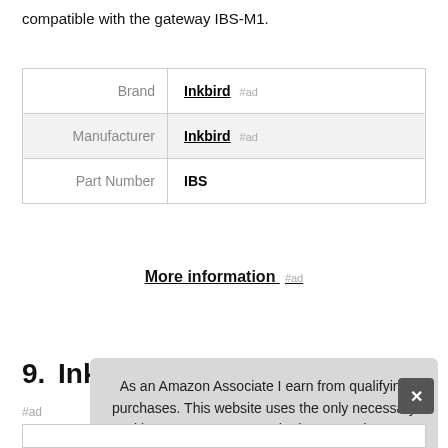compatible with the gateway IBS-M1.
|  |  |
| --- | --- |
| Brand | Inkbird #ad |
| Manufacturer | Inkbird #ad |
| Part Number | IBS |
More information #ad
9. Inkbird
#ad
As an Amazon Associate I earn from qualifying purchases. This website uses the only necessary cookies to ensure you get the best experience on our website. More information